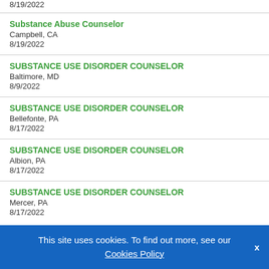8/19/2022
Substance Abuse Counselor
Campbell, CA
8/19/2022
SUBSTANCE USE DISORDER COUNSELOR
Baltimore, MD
8/9/2022
SUBSTANCE USE DISORDER COUNSELOR
Bellefonte, PA
8/17/2022
SUBSTANCE USE DISORDER COUNSELOR
Albion, PA
8/17/2022
SUBSTANCE USE DISORDER COUNSELOR
Mercer, PA
8/17/2022
This site uses cookies. To find out more, see our Cookies Policy